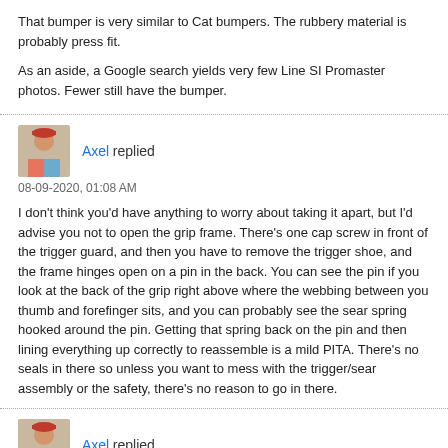That bumper is very similar to Cat bumpers. The rubbery material is probably press fit.

As an aside, a Google search yields very few Line SI Promaster photos. Fewer still have the bumper.
Axel replied
08-09-2020, 01:08 AM

I don't think you'd have anything to worry about taking it apart, but I'd advise you not to open the grip frame. There's one cap screw in front of the trigger guard, and then you have to remove the trigger shoe, and the frame hinges open on a pin in the back. You can see the pin if you look at the back of the grip right above where the webbing between you thumb and forefinger sits, and you can probably see the sear spring hooked around the pin. Getting that spring back on the pin and then lining everything up correctly to reassemble is a mild PITA. There's no seals in there so unless you want to mess with the trigger/sear assembly or the safety, there's no reason to go in there.
Axel replied
08-09-2020, 12:59 AM

I think I read somewhere that the back cap is not really necessary. It's